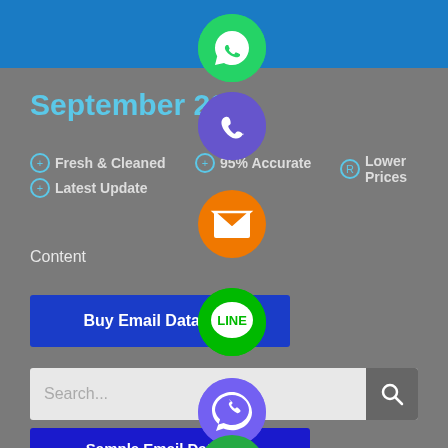[Figure (screenshot): Website screenshot showing email database service with social media contact icons (WhatsApp, Phone, Email, LINE, Viber, close), a blue header bar, title 'September 2...', feature badges, a Buy Email Database button, search bar, and Sample Email Database button.]
September 20...
Fresh & Cleaned
95% Accurate
Lower Prices
Latest Update
Content
Buy Email Database
Search...
Sample Email Database